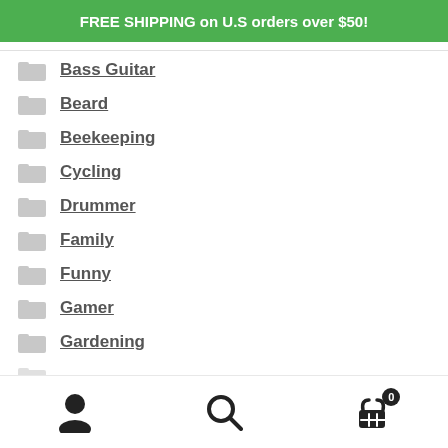FREE SHIPPING on U.S orders over $50!
Bass Guitar
Beard
Beekeeping
Cycling
Drummer
Family
Funny
Gamer
Gardening
User | Search | Cart (0)